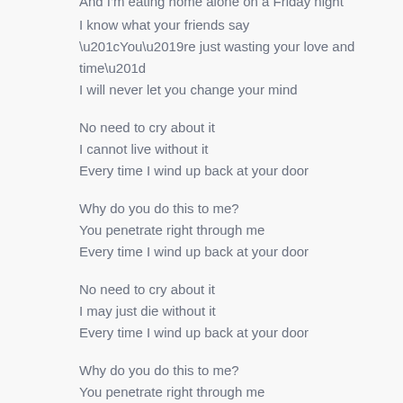And I'm eating home alone on a Friday night
I know what your friends say
“You're just wasting your love and time”
I will never let you change your mind
No need to cry about it
I cannot live without it
Every time I wind up back at your door
Why do you do this to me?
You penetrate right through me
Every time I wind up back at your door
No need to cry about it
I may just die without it
Every time I wind up back at your door
Why do you do this to me?
You penetrate right through me
Every time I wind up back at your door